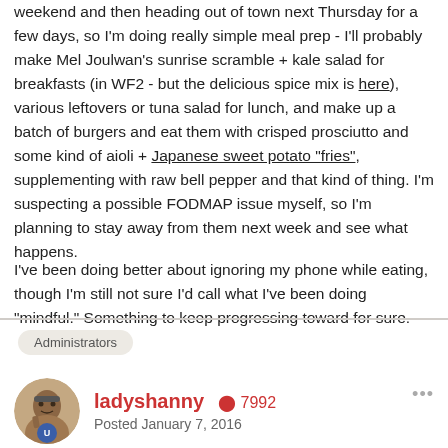weekend and then heading out of town next Thursday for a few days, so I'm doing really simple meal prep - I'll probably make Mel Joulwan's sunrise scramble + kale salad for breakfasts (in WF2 - but the delicious spice mix is here), various leftovers or tuna salad for lunch, and make up a batch of burgers and eat them with crisped prosciutto and some kind of aioli + Japanese sweet potato "fries", supplementing with raw bell pepper and that kind of thing. I'm suspecting a possible FODMAP issue myself, so I'm planning to stay away from them next week and see what happens.
I've been doing better about ignoring my phone while eating, though I'm still not sure I'd call what I've been doing "mindful." Something to keep progressing toward for sure.
Administrators
ladyshanny  +7992  Posted January 7, 2016